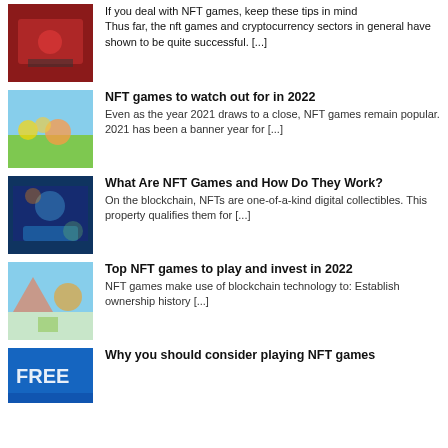[Figure (photo): Gaming scene with people playing games, dark red/arcade lighting]
If you deal with NFT games, keep these tips in mind Thus far, the nft games and cryptocurrency sectors in general have shown to be quite successful. [...]
[Figure (photo): Colorful animated NFT game scene with cartoon animals in a colorful landscape]
NFT games to watch out for in 2022
Even as the year 2021 draws to a close, NFT games remain popular. 2021 has been a banner year for [...]
[Figure (photo): Dark blue NFT game screenshot with colorful game characters]
What Are NFT Games and How Do They Work?
On the blockchain, NFTs are one-of-a-kind digital collectibles. This property qualifies them for [...]
[Figure (photo): NFT game image with colorful cartoon characters on a bright sky background]
Top NFT games to play and invest in 2022
NFT games make use of blockchain technology to: Establish ownership history [...]
[Figure (photo): Blue background image with FREE text, NFT games promotional image]
Why you should consider playing NFT games